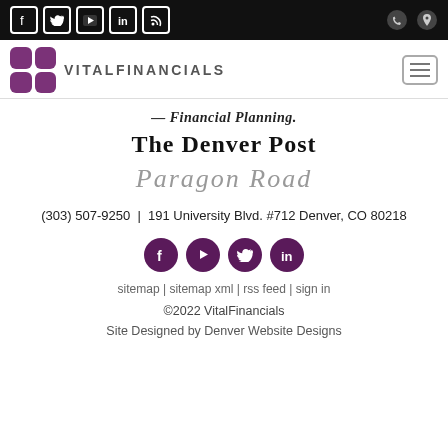VitalFinancials — top navigation bar with social icons (Facebook, Twitter, YouTube, LinkedIn, RSS) and phone/location icons
[Figure (logo): VitalFinancials logo: 2x2 purple grid squares with text VITALFINANCIALS]
[Figure (logo): Financial Planning. logo]
[Figure (logo): The Denver Post logo]
[Figure (logo): Paragon Road script logo]
(303) 507-9250  |  191 University Blvd. #712 Denver, CO 80218
[Figure (infographic): Social media circle icons: Facebook, YouTube, Twitter, LinkedIn]
sitemap | sitemap xml | rss feed | sign in
©2022 VitalFinancials
Site Designed by Denver Website Designs